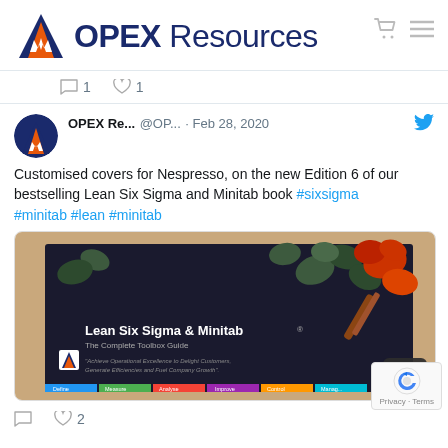[Figure (logo): OPEX Resources logo with triangular geometric icon in blue and orange, followed by bold text OPEX Resources]
1  1
OPEX Re... @OP... · Feb 28, 2020
Customised covers for Nespresso, on the new Edition 6 of our bestselling Lean Six Sigma and Minitab book #sixsigma #minitab #lean #minitab
[Figure (photo): Photo of Lean Six Sigma & Minitab: The Complete Toolbox Guide book with coffee beans on the cover, placed on a wooden surface. The book spine shows Define, Measure, Analyse, Improve, Control, Manage tabs.]
2